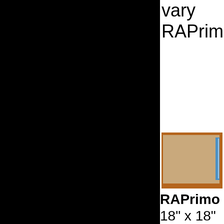[Figure (photo): Large black panel covering left two-thirds of the page]
vary
RAPrimot
[Figure (photo): Product image showing a rectangular beige/tan board or panel with a blue element on the right edge, framed with a brown border]
RAPrimo
18" x 18"
in check
as Swatc
shipping
Sample $